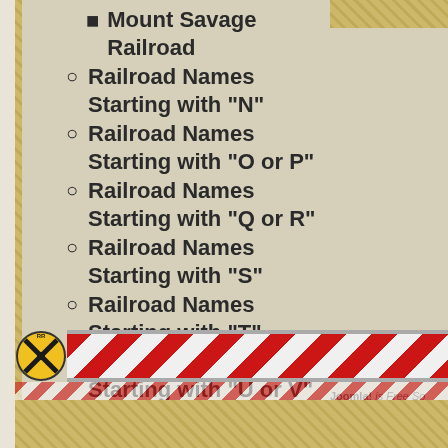Mount Savage Railroad
Railroad Names Starting with "N"
Railroad Names Starting with "O or P"
Railroad Names Starting with "Q or R"
Railroad Names Starting with "S"
Railroad Names Starting with "T"
Railroad Names Starting with "U or V"
Railroad Names Starting with "W to Z"
Censuses 1830-1850
Links
Contact Us
Joomla! is Free So